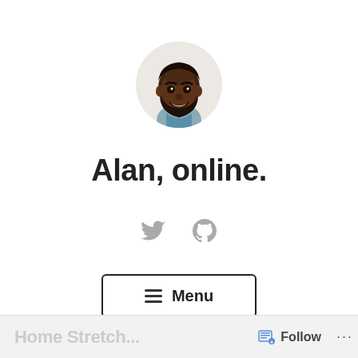[Figure (photo): Circular profile photo of a smiling man with a beard wearing a grey shirt]
Alan, online.
[Figure (other): Twitter bird icon and GitHub octocat icon in grey]
[Figure (other): Menu button with hamburger icon and text 'Menu' inside a rounded rectangle border]
Home Stretch... Follow ...